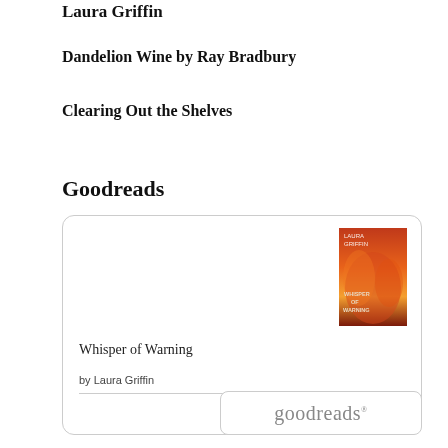Laura Griffin
Dandelion Wine by Ray Bradbury
Clearing Out the Shelves
Goodreads
[Figure (screenshot): Goodreads widget showing the book 'Whisper of Warning' by Laura Griffin with a book cover image, title, author, and the Goodreads logo at the bottom right.]